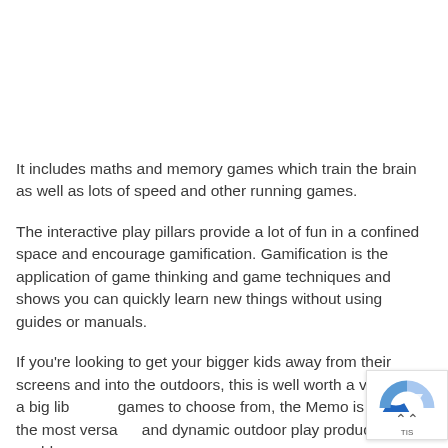It includes maths and memory games which train the brain as well as lots of speed and other running games.
The interactive play pillars provide a lot of fun in a confined space and encourage gamification. Gamification is the application of game thinking and game techniques and shows you can quickly learn new things without using guides or manuals.
If you're looking to get your bigger kids away from their screens and into the outdoors, this is well worth a visit. With a big library of games to choose from, the Memo is one of the most versatile and dynamic outdoor play products in the world.
[Figure (other): Small overlay widget in the bottom-right corner showing a partial bar/pie chart graphic with an up-arrow chevron icon and a label 'TIS']